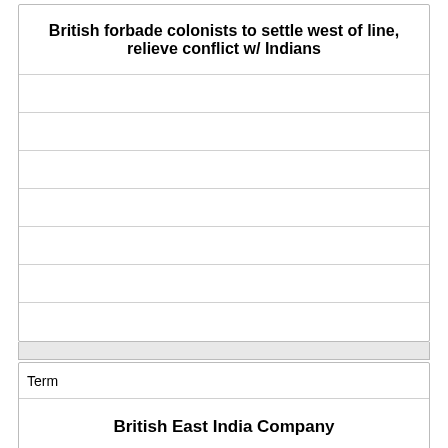| British forbade colonists to settle west of line, relieve conflict w/ Indians |
|  |
|  |
|  |
|  |
|  |
|  |
|  |
| Term |
| --- |
| British East India Company |
|  |
|  |
|  |
|  |
|  |
|  |
|  |